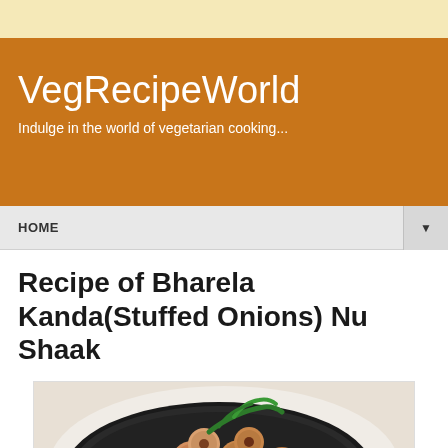VegRecipeWorld
Indulge in the world of vegetarian cooking...
HOME
Recipe of Bharela Kanda(Stuffed Onions) Nu Shaak
[Figure (photo): Stuffed onions (Bharela Kanda) cooked and arranged in a dark non-stick pan, garnished with green chilies and a slice of lemon, placed on a light background]